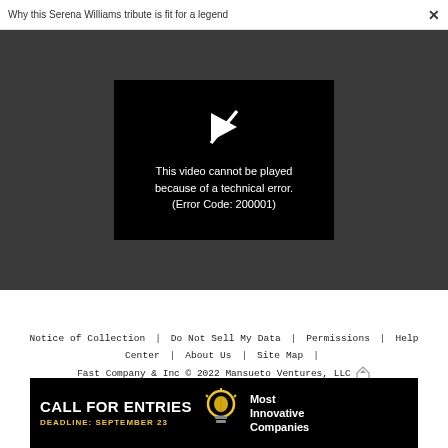Why this Serena Williams tribute is fit for a legend  ×
[Figure (screenshot): Video player showing error on black background: play icon with a slash through it, and text 'This video cannot be played because of a technical error. (Error Code: 200001)']
Notice of Collection | Do Not Sell My Data | Permissions | Help Center | About Us | Site Map | Fast Company & Inc © 2022 Mansueto Ventures, LLC
[Figure (infographic): Advertisement banner: black background with 'CALL FOR ENTRIES' in bold white, 'DEADLINE: SEPTEMBER 23' in yellow, a lightbulb icon, and 'Most Innovative Companies' in white text on the right.]